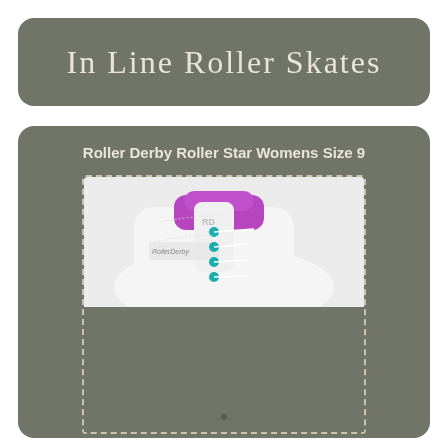In Line Roller Skates
Roller Derby Roller Star Womens Size 9
[Figure (photo): Close-up photo of a white roller skate boot with purple collar and teal/blue lace eyelets, with 'Roller Derby' branding visible on the side. The skate is shown from the ankle up, on a white background.]